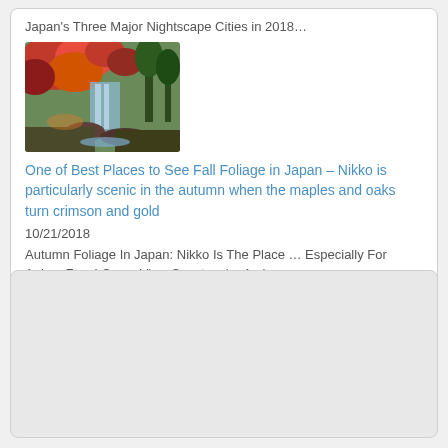Japan's Three Major Nightscape Cities in 2018…
[Figure (photo): Autumn foliage photo showing red and orange maples near a waterfall in Nikko, Japan]
One of Best Places to See Fall Foliage in Japan – Nikko is particularly scenic in the autumn when the maples and oaks turn crimson and gold
10/21/2018
Autumn Foliage In Japan: Nikko Is The Place … Especially For Anime Fans! Come View Spectacular Ambers...
[Figure (other): Empty gray content placeholder box]